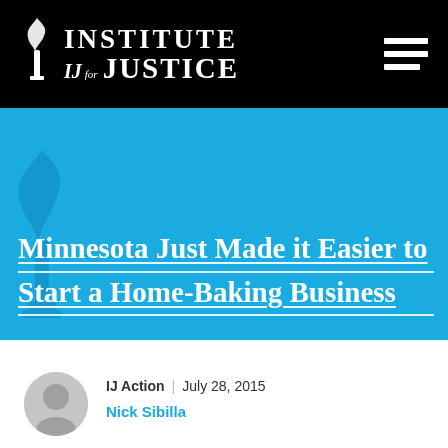[Figure (logo): Institute for Justice (IJ) logo — white torch icon and text on black background, with hamburger menu icon on right]
Minnesota Just Made it Easier to Start a Home-Baking Business
[Figure (photo): Circular headshot/avatar of article author Nick Sibilla, partially visible, grey placeholder]
IJ Action  |  July 28, 2015
Nick Sibilla